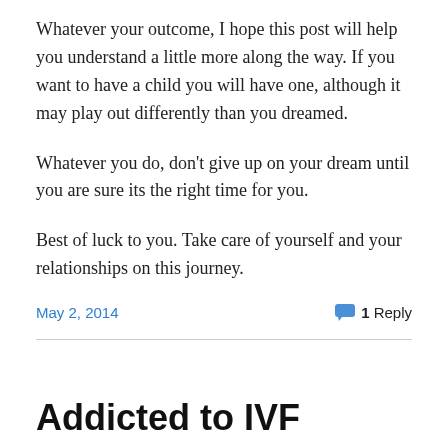Whatever your outcome, I hope this post will help you understand a little more along the way. If you want to have a child you will have one, although it may play out differently than you dreamed.
Whatever you do, don't give up on your dream until you are sure its the right time for you.
Best of luck to you. Take care of yourself and your relationships on this journey.
May 2, 2014   1 Reply
Addicted to IVF